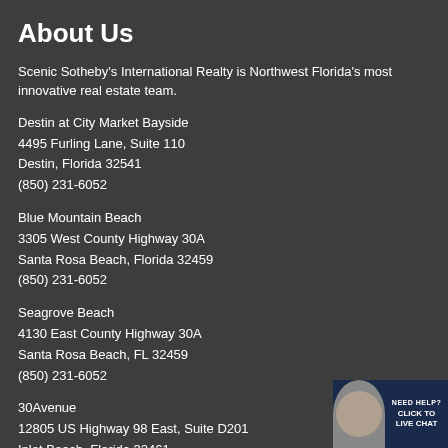About Us
Scenic Sotheby's International Realty is Northwest Florida's most innovative real estate team.
Destin at City Market Bayside
4495 Furling Lane, Suite 110
Destin, Florida 32541
(850) 231-6052
Blue Mountain Beach
3305 West County Highway 30A
Santa Rosa Beach, Florida 32459
(850) 231-6052
Seagrove Beach
4130 East County Highway 30A
Santa Rosa Beach, FL 32459
(850) 231-6052
30Avenue
12805 US Highway 98 East, Suite D201
Inlet Beach, Florida 32461